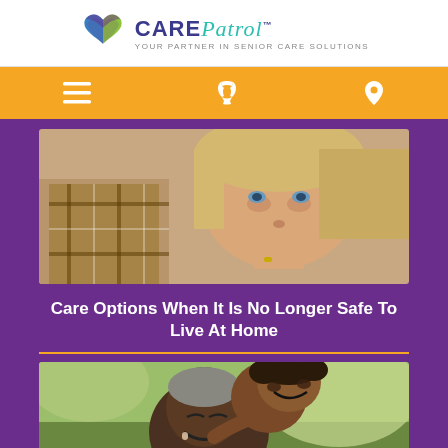[Figure (logo): CarePatrol logo with heart icon and tagline 'Your Partner In Senior Care Solutions']
[Figure (infographic): Golden navigation bar with hamburger menu, phone, and location pin icons]
[Figure (photo): Photo of a worried middle-aged woman with blonde hair resting her chin on her hand, with an older person in plaid beside her]
Care Options When It Is No Longer Safe To Live At Home
[Figure (photo): Photo of a smiling elderly Black man being hugged by a young child outdoors]